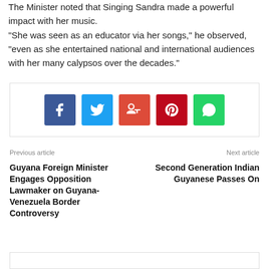The Minister noted that Singing Sandra made a powerful impact with her music. “She was seen as an educator via her songs,” he observed, “even as she entertained national and international audiences with her many calypsos over the decades.”
[Figure (infographic): Social media sharing buttons: Facebook (blue), Twitter (light blue), Google+ (red-orange), Pinterest (dark red), WhatsApp (green)]
Previous article
Guyana Foreign Minister Engages Opposition Lawmaker on Guyana-Venezuela Border Controversy
Next article
Second Generation Indian Guyanese Passes On